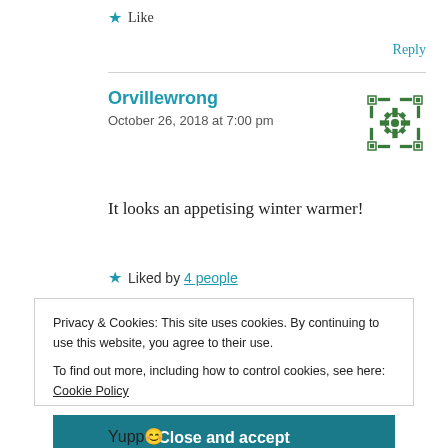★ Like
Reply
Orvillewrong
October 26, 2018 at 7:00 pm
[Figure (illustration): Green decorative snowflake/mandala avatar icon]
It looks an appetising winter warmer!
★ Liked by 4 people
Privacy & Cookies: This site uses cookies. By continuing to use this website, you agree to their use.
To find out more, including how to control cookies, see here: Cookie Policy
Close and accept
Yupp 😊